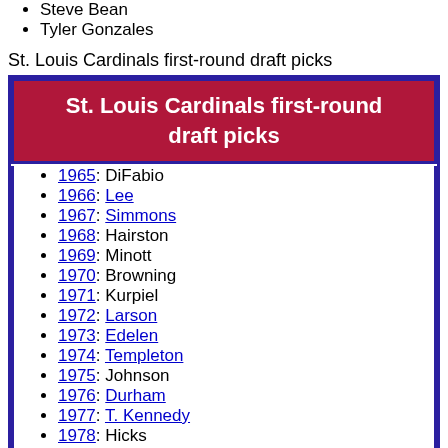Steve Bean
Tyler Gonzales
St. Louis Cardinals first-round draft picks
St. Louis Cardinals first-round draft picks
1965: DiFabio
1966: Lee
1967: Simmons
1968: Hairston
1969: Minott
1970: Browning
1971: Kurpiel
1972: Larson
1973: Edelen
1974: Templeton
1975: Johnson
1976: Durham
1977: T. Kennedy
1978: Hicks
1979: Van Slyke
1980: Collins
1981: Meachem
1982: Worrell
1983: Lindeman